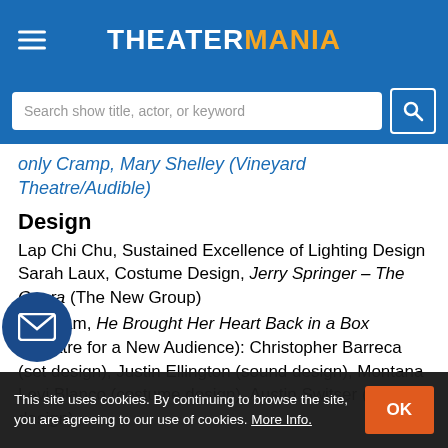THEATERMANIA
Search show title, actor, or keyword
only Cramp, Mary Shelley (Vineyard Theatre/Audible)
Design
Lap Chi Chu, Sustained Excellence of Lighting Design
Sarah Laux, Costume Design, Jerry Springer – The Opera (The New Group)
Design Team, He Brought Her Heart Back in a Box (Theatre for a New Audience): Christopher Barreca (set design), Justin Ellington (sound design), Montana Levi Blanco (costume design), Austin Switser (video design)
This site uses cookies. By continuing to browse the site, you are agreeing to our use of cookies. More Info.